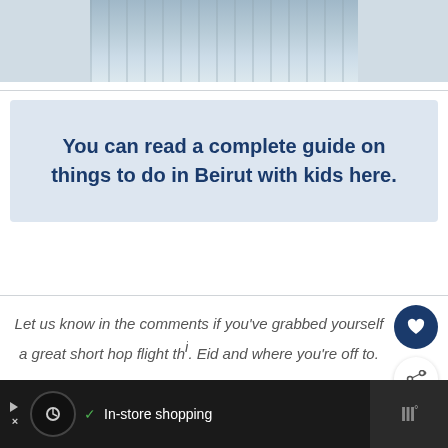[Figure (photo): Top portion of a water/river reflection photo, cropped]
You can read a complete guide on things to do in Beirut with kids here.
Let us know in the comments if you've grabbed yourself a great short hop flight this Eid and where you're off to.
If this all seems too hard so close to
In-store shopping
[Figure (photo): What's Next thumbnail - tropical beach scene]